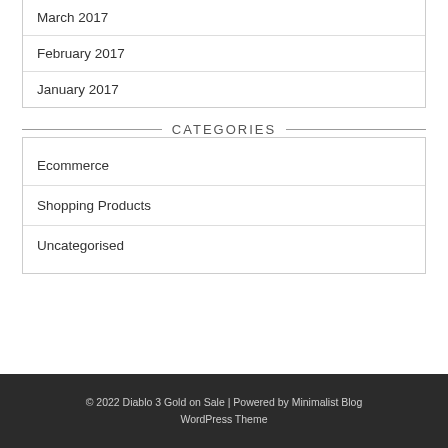March 2017
February 2017
January 2017
CATEGORIES
Ecommerce
Shopping Products
Uncategorised
© 2022 Diablo 3 Gold on Sale | Powered by Minimalist Blog WordPress Theme